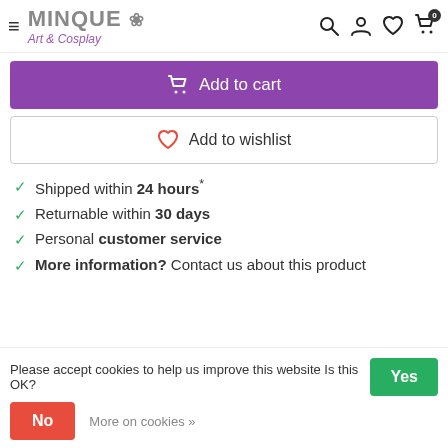MINQUE Art & Cosplay
Add to cart
Add to wishlist
Shipped within 24 hours*
Returnable within 30 days
Personal customer service
More information? Contact us about this product
Please accept cookies to help us improve this website Is this OK?
Yes
No
More on cookies »